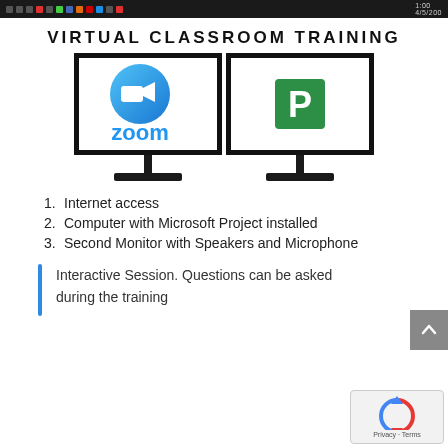[Figure (screenshot): Windows taskbar at top of page]
VIRTUAL CLASSROOM TRAINING
[Figure (illustration): Two computer monitors side by side: left monitor shows Zoom logo (blue circle with camera icon and 'zoom' text), right monitor shows a green square with white letter P (Microsoft Project icon)]
1. Internet access
2. Computer with Microsoft Project installed
3. Second Monitor with Speakers and Microphone
Interactive Session. Questions can be asked during the training